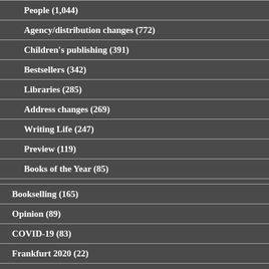People (1,044)
Agency/distribution changes (772)
Children's publishing (391)
Bestsellers (342)
Libraries (285)
Address changes (269)
Writing Life (247)
Preview (119)
Books of the Year (85)
Bookselling (165)
Opinion (89)
COVID-19 (83)
Frankfurt 2020 (22)
Satire (2)